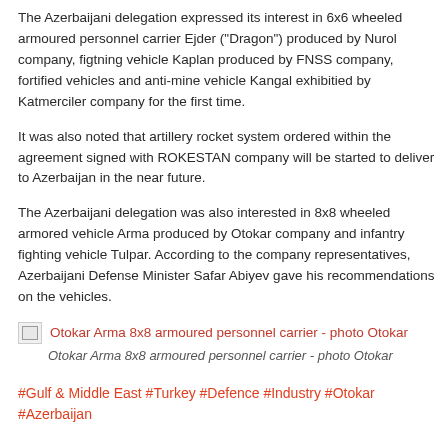The Azerbaijani delegation expressed its interest in 6x6 wheeled armoured personnel carrier Ejder ("Dragon") produced by Nurol company, figtning vehicle Kaplan produced by FNSS company, fortified vehicles and anti-mine vehicle Kangal exhibitied by Katmerciler company for the first time.
It was also noted that artillery rocket system ordered within the agreement signed with ROKESTAN company will be started to deliver to Azerbaijan in the near future.
The Azerbaijani delegation was also interested in 8x8 wheeled armored vehicle Arma produced by Otokar company and infantry fighting vehicle Tulpar. According to the company representatives, Azerbaijani Defense Minister Safar Abiyev gave his recommendations on the vehicles.
[Figure (photo): Broken image placeholder with link text: Otokar Arma 8x8 armoured personnel carrier - photo Otokar]
Otokar Arma 8x8 armoured personnel carrier - photo Otokar
#Gulf & Middle East #Turkey #Defence #Industry #Otokar #Azerbaijan